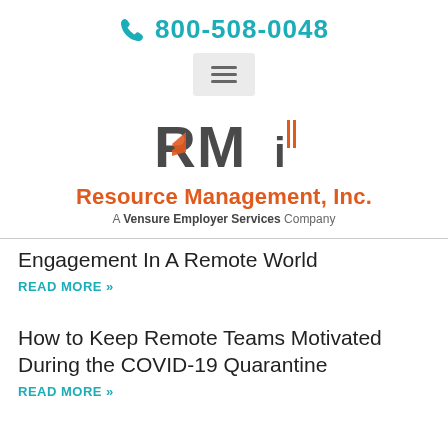800-508-0048
[Figure (logo): RMi Resource Management Inc. logo - A Vensure Employer Services Company]
Engagement In A Remote World
READ MORE »
How to Keep Remote Teams Motivated During the COVID-19 Quarantine
READ MORE »